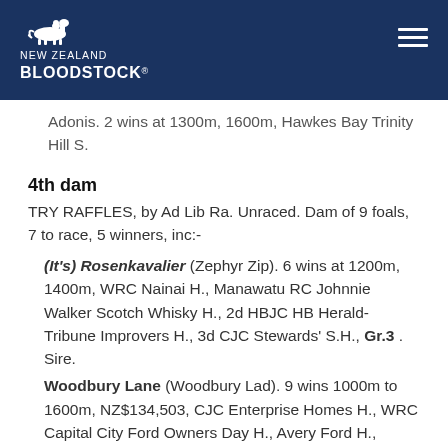NEW ZEALAND BLOODSTOCK
Adonis. 2 wins at 1300m, 1600m, Hawkes Bay Trinity Hill S.
4th dam
TRY RAFFLES, by Ad Lib Ra. Unraced. Dam of 9 foals, 7 to race, 5 winners, inc:-
(It's) Rosenkavalier (Zephyr Zip). 6 wins at 1200m, 1400m, WRC Nainai H., Manawatu RC Johnnie Walker Scotch Whisky H., 2d HBJC HB Herald-Tribune Improvers H., 3d CJC Stewards' S.H., Gr.3 . Sire.
Woodbury Lane (Woodbury Lad). 9 wins 1000m to 1600m, NZ$134,503, CJC Enterprise Homes H., WRC Capital City Ford Owners Day H., Avery Ford H., James Cook Joinery H., Taranaki RC Consolation H., 2d Marton JC Savabeel 1600, L , 3d Wanganui S., L , 4th CJC Winter Cup, Gr.3